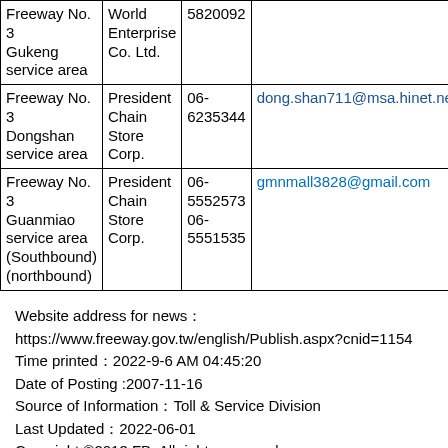| Location | Operator | Phone | Email |
| --- | --- | --- | --- |
| Freeway No. 3 Gukeng service area | World Enterprise Co. Ltd. | 5820092 |  |
| Freeway No. 3 Dongshan service area | President Chain Store Corp. | 06-6235344 | dong.shan711@msa.hinet.net |
| Freeway No. 3 Guanmiao service area (Southbound) (northbound) | President Chain Store Corp. | 06-5552573 06-5551535 | gmnmall3828@gmail.com |
Website address for news：https://www.freeway.gov.tw/english/Publish.aspx?cnid=1154
Time printed：2022-9-6 AM 04:45:20
Date of Posting :2007-11-16
Source of Information：Toll & Service Division
Last Updated：2022-06-01
Copyright ©2013 FB. All rights reserved.